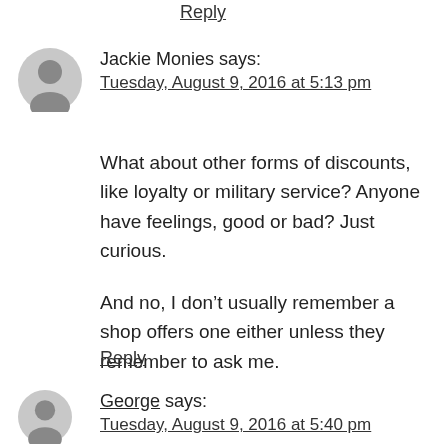Reply
Jackie Monies says:
Tuesday, August 9, 2016 at 5:13 pm
What about other forms of discounts, like loyalty or military service? Anyone have feelings, good or bad? Just curious.

And no, I don't usually remember a shop offers one either unless they remember to ask me.
Reply
George says:
Tuesday, August 9, 2016 at 5:40 pm